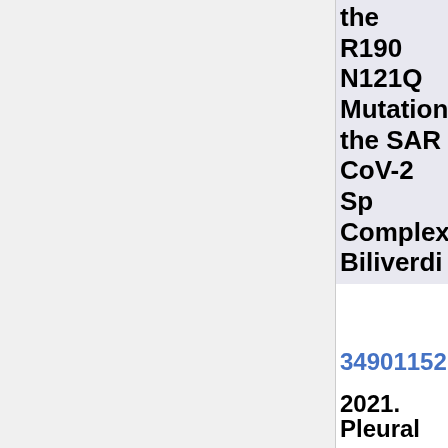the R190N121Q Mutation the SARS-CoV-2 Spike Complex Biliverdi
34901152
2021. Pleural Mesothe